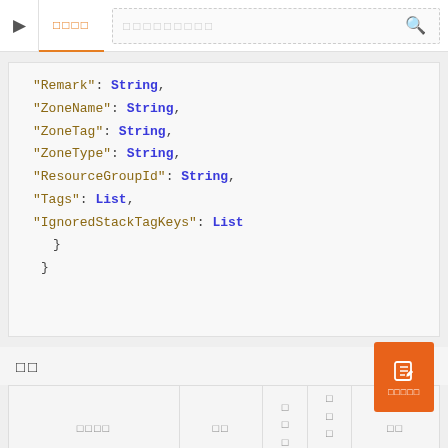▷  □□□□  □□□□□□□□□  🔍
"Remark": String,
"ZoneName": String,
"ZoneTag": String,
"ZoneType": String,
"ResourceGroupId": String,
"Tags": List,
"IgnoredStackTagKeys": List
    }
}
□□
| □□□□ | □□ | □ □ □ | □ □ □ □ | □□ |
| --- | --- | --- | --- | --- |
|  |  |  |  |  |